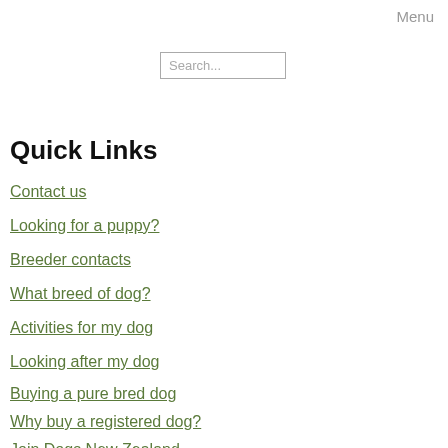Menu
Search...
Quick Links
Contact us
Looking for a puppy?
Breeder contacts
What breed of dog?
Activities for my dog
Looking after my dog
Buying a pure bred dog
Why buy a registered dog?
Join Dogs New Zealand